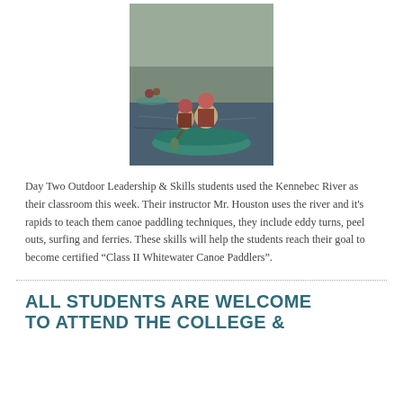[Figure (photo): Students paddling a canoe on the Kennebec River, wearing red helmets and life vests. Another canoe visible in the background.]
Day Two Outdoor Leadership & Skills students used the Kennebec River as their classroom this week. Their instructor Mr. Houston uses the river and it's rapids to teach them canoe paddling techniques, they include eddy turns, peel outs, surfing and ferries. These skills will help the students reach their goal to become certified “Class II Whitewater Canoe Paddlers”.
ALL STUDENTS ARE WELCOME TO ATTEND THE COLLEGE &